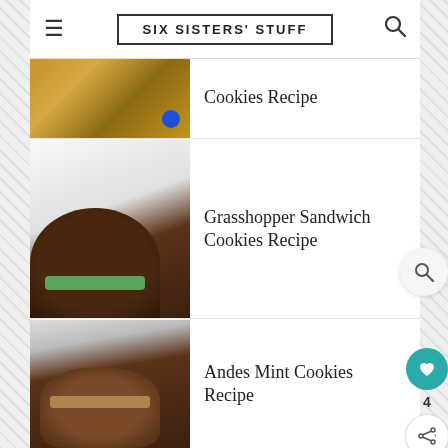SIX SISTERS' STUFF
[Figure (photo): Photo of M&M cookies on a wooden surface]
Cookies Recipe
[Figure (photo): Photo of Grasshopper Sandwich Cookies with green mint filling on a white plate]
Grasshopper Sandwich Cookies Recipe
[Figure (photo): Photo of stacked Andes Mint Cookies with chocolate mint topping]
Andes Mint Cookies Recipe